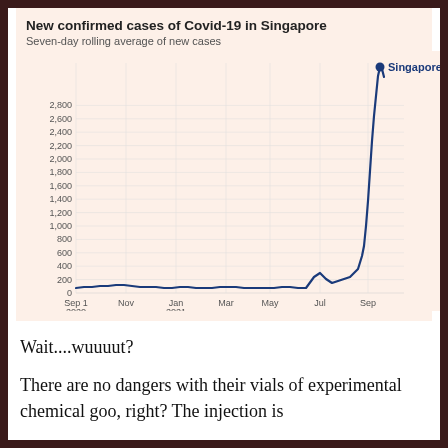New confirmed cases of Covid-19 in Singapore
Seven-day rolling average of new cases
[Figure (continuous-plot): Line chart showing seven-day rolling average of new Covid-19 cases in Singapore from Sep 1 2020 to approximately Oct 2021. Cases remain near zero until mid-2021, then spike sharply to about 2,900 by late September/October 2021.]
Wait....wuuuut?
There are no dangers with their vials of experimental chemical goo, right? The injection is